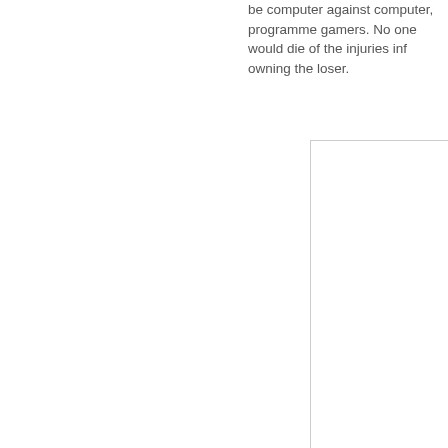be computer against computer, programme gamers. No one would die of the injuries inf owning the loser.
[Figure (other): A white rectangular image box with a light gray border, mostly empty/blank content.]